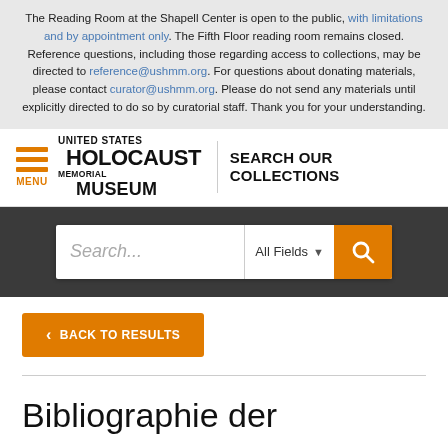The Reading Room at the Shapell Center is open to the public, with limitations and by appointment only. The Fifth Floor reading room remains closed. Reference questions, including those regarding access to collections, may be directed to reference@ushmm.org. For questions about donating materials, please contact curator@ushmm.org. Please do not send any materials until explicitly directed to do so by curatorial staff. Thank you for your understanding.
[Figure (logo): United States Holocaust Memorial Museum logo with hamburger menu icon and SEARCH OUR COLLECTIONS text]
[Figure (screenshot): Search bar with placeholder text 'Search...', All Fields dropdown, and orange search button]
< BACK TO RESULTS
Bibliographie der